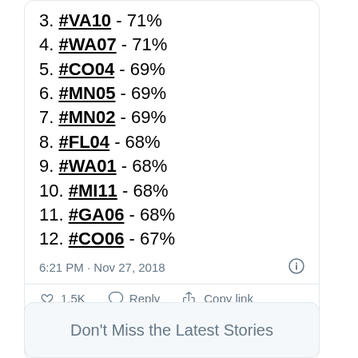3. #VA10 - 71%
4. #WA07 - 71%
5. #CO04 - 69%
6. #MN05 - 69%
7. #MN02 - 69%
8. #FL04 - 68%
9. #WA01 - 68%
10. #MI11 - 68%
11. #GA06 - 68%
12. #CO06 - 67%
6:21 PM · Nov 27, 2018
1.5K  Reply  Copy link
Read 102 replies
Don't Miss the Latest Stories